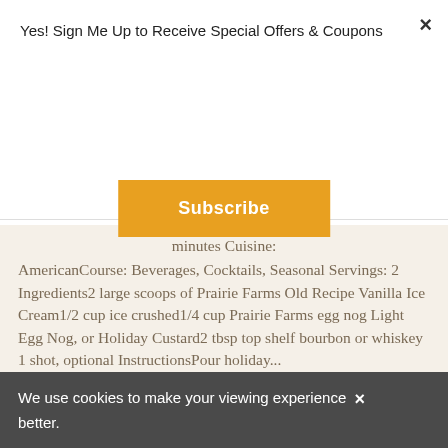Yes! Sign Me Up to Receive Special Offers & Coupons
Subscribe
minutes Cuisine: AmericanCourse: Beverages, Cocktails, Seasonal Servings: 2 Ingredients2 large scoops of Prairie Farms Old Recipe Vanilla Ice Cream1/2 cup ice crushed1/4 cup Prairie Farms egg nog Light Egg Nog, or Holiday Custard2 tbsp top shelf bourbon or whiskey 1 shot, optional InstructionsPour holiday...
READ MORE
We use cookies to make your viewing experience better.